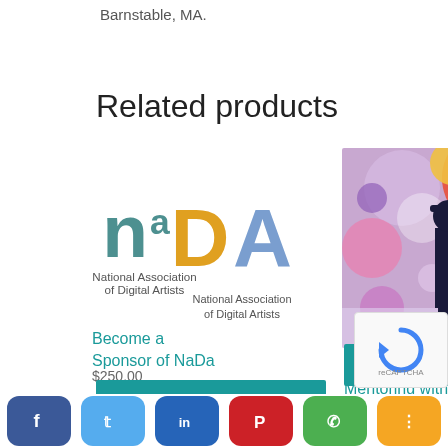Barnstable, MA.
Related products
[Figure (logo): NaDa logo — National Association of Digital Artists, with stylized 'n', 'a', 'D', 'A' letters in teal and gold, and text beneath]
Become a Sponsor of NaDa
$250.00
ADD TO CART
[Figure (photo): Colorful pop-art style painting with a person in dark suit standing against a background of multicolored circles (purple, orange, red, pink)]
One on One Mentoring with Barbara Braman
$75.00
ADD TO